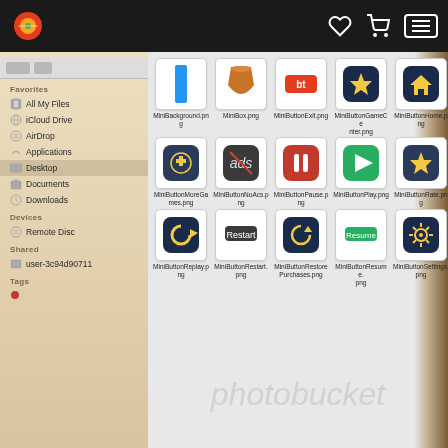App icon browser - Finder window screenshot
[Figure (screenshot): macOS Finder window showing a grid of PNG icon files: MiniBackground.png, MiniBox.png, MiniButtonExit.png, MiniButtonGameCenter.png, MiniButtonHome.png, MiniButtonMoreGames.png, MiniButtonNoAcs.png, MiniButtonPause.png, MiniButtonPlay.png, MiniButtonRate.png, MiniButtonReplay.png, MiniButtonRestart.png, MiniButtonRestorePurchases.png, MiniButtonResume.png, MiniButtonSettings.png. Sidebar shows Favorites: All My Files, iCloud Drive, AirDrop, Applications, Desktop (selected), Documents, Downloads; Devices: Remote Disc; Shared: user-3c94d90711; Tags section.]